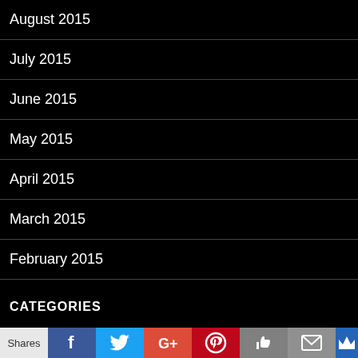August 2015
July 2015
June 2015
May 2015
April 2015
March 2015
February 2015
January 2015
December 2014
CATEGORIES
[Figure (infographic): Social share bar with Shares, Facebook, Twitter, Google+, Pinterest, Like, Mail, and crown/bookmark icons]